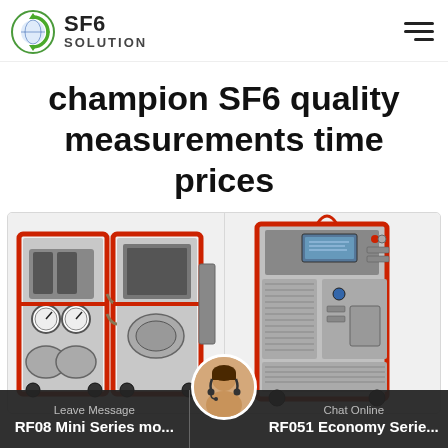SF6 SOLUTION
champion SF6 quality measurements time prices
[Figure (photo): Red-framed SF6 gas handling unit (RF08 Mini Series) with compressors, gauges and hoses on wheels]
[Figure (photo): Red-framed SF6 gas recovery and refilling device (RF051 Economy Series) tall cabinet unit on wheels with display panel]
RF08 Mini Series mo...  |  RF051 Economy Serie...  |  Leave Message  |  Chat Online